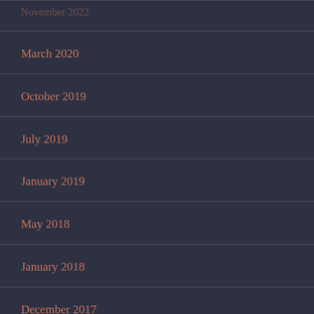November 2022
March 2020
October 2019
July 2019
January 2019
May 2018
January 2018
December 2017
June 2017
May 2017
April 2017
December 2016